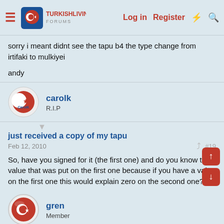TurkishLiving Forums — Log in | Register
sorry i meant didnt see the tapu b4 the type change from irtifaki to mulkiyei

andy
[Figure (illustration): CarolK user avatar — red crescent moon icon on white circle with border]
carolk
R.I.P
just received a copy of my tapu
Feb 12, 2010  #19
So, have you signed for it (the first one) and do you know the value that was put on the first one because if you have a value on the first one this would explain zero on the second one?
[Figure (illustration): gren user avatar — Turkish flag red circle with white crescent and star]
gren
Member